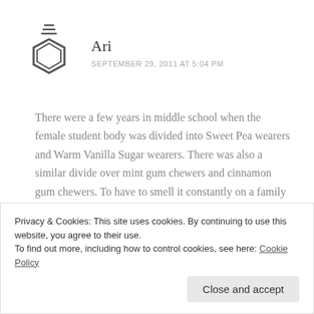[Figure (illustration): Benzene/chemical flask-like avatar icon — a stylized hexagonal benzene ring with a flask top and three horizontal lines above it, rendered in outline style]
Ari
SEPTEMBER 29, 2011 AT 5:04 PM
There were a few years in middle school when the female student body was divided into Sweet Pea wearers and Warm Vanilla Sugar wearers. There was also a similar divide over mint gum chewers and cinnamon gum chewers. To have to smell it constantly on a family member must have been awful! I hope your daughter has moved on to bigger and better things!
Privacy & Cookies: This site uses cookies. By continuing to use this website, you agree to their use.
To find out more, including how to control cookies, see here: Cookie Policy
Close and accept